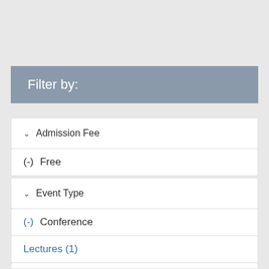Filter by:
Admission Fee
(-) Free
Event Type
(-) Conference
Lectures (1)
Lifelong Learning (2)
Panel Discussion (2)